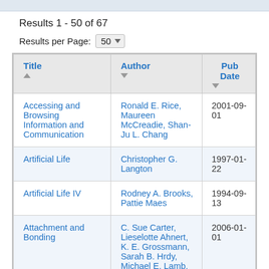Results 1 - 50 of 67
Results per Page: 50
| Title | Author | Pub Date |
| --- | --- | --- |
| Accessing and Browsing Information and Communication | Ronald E. Rice, Maureen McCreadie, Shan-Ju L. Chang | 2001-09-01 |
| Artificial Life | Christopher G. Langton | 1997-01-22 |
| Artificial Life IV | Rodney A. Brooks, Pattie Maes | 1994-09-13 |
| Attachment and Bonding | C. Sue Carter, Lieselotte Ahnert, K. E. Grossmann, Sarah B. Hrdy, Michael E. Lamb, Stephen W. Porges, Norbert Sachser | 2006-01-01 |